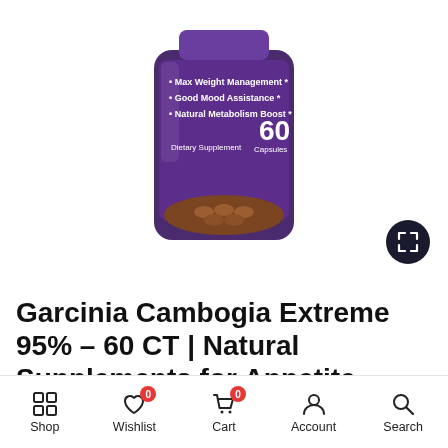[Figure (photo): Garcinia Cambogia Extreme 95% supplement bottle with purple label showing '60 capsules', 'Max Weight Management', 'Good Mood Assistance', 'Natural Metabolism Boost', 'Dietary Supplement'. Brown bottle with capsules visible at the bottom.]
Garcinia Cambogia Extreme 95% - 60 CT | Natural Supplements for Appetite
[Figure (other): Bottom navigation bar with Shop, Wishlist (badge: 0), Cart (badge: 0), Account, Search icons.]